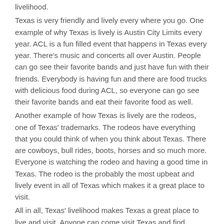livelihood.
Texas is very friendly and lively every where you go. One example of why Texas is lively is Austin City Limits every year. ACL is a fun filled event that happens in Texas every year. There's music and concerts all over Austin. People can go see their favorite bands and just have fun with their friends. Everybody is having fun and there are food trucks with delicious food during ACL, so everyone can go see their favorite bands and eat their favorite food as well.
Another example of how Texas is lively are the rodeos, one of Texas' trademarks. The rodeos have everything that you could think of when you think about Texas. There are cowboys, bull rides, boots, horses and so much more. Everyone is watching the rodeo and having a good time in Texas. The rodeo is the probably the most upbeat and lively event in all of Texas which makes it a great place to visit.
All in all, Texas' livelihood makes Texas a great place to live and visit. Anyone can come visit Texas and find something awesome to do here in the lone star state.
Posted in Uncategorized | Tagged Texas | 1 Reply